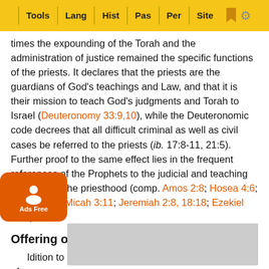Tools | Lang | Hist | Pas | Per | Site
times the expounding of the Torah and the administration of justice remained the specific functions of the priests. It declares that the priests are the guardians of God's teachings and Law, and that it is their mission to teach God's judgments and Torah to Israel (Deuteronomy 33:9,10), while the Deuteronomic code decrees that all difficult criminal as well as civil cases be referred to the priests (ib. 17:8-11, 21:5). Further proof to the same effect lies in the frequent references of the Prophets to the judicial and teaching functions of the priesthood (comp. Amos 2:8; Hosea 4:6; Isaiah 28:7; Micah 3:11; Jeremiah 2:8, 18:18; Ezekiel 7:26).
Offering of the Sacrifices.
In addition to the duties thus far discussed, the offering of sacrifices, in the time of the monarchy, must have become the of... [content partially obscured] ...tions it with... [content partially obscured] ...on is obtai... [content partially obscured] ...and